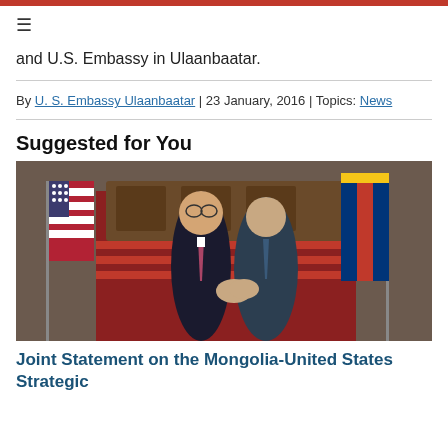≡
and U.S. Embassy in Ulaanbaatar.
By U. S. Embassy Ulaanbaatar | 23 January, 2016 | Topics: News
Suggested for You
[Figure (photo): Two men in suits shaking hands in front of an ornate staircase with American and Mongolian flags visible in the background.]
Joint Statement on the Mongolia-United States Strategic